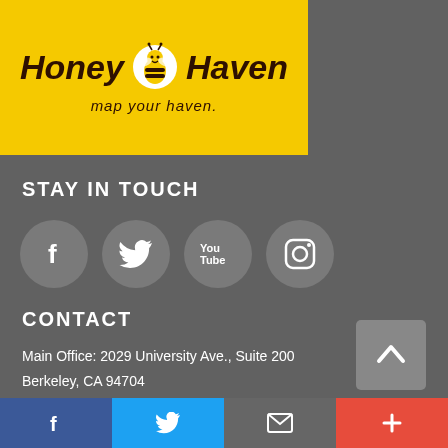[Figure (logo): Honey Haven logo with bee icon and tagline 'map your haven.' on yellow background]
STAY IN TOUCH
[Figure (infographic): Row of four social media icon buttons: Facebook, Twitter, YouTube, Instagram]
CONTACT
Main Office: 2029 University Ave., Suite 200
Berkeley, CA 94704
Phone: 510.788.9020
Midwest Office: 3438 Snelling Ave
Upper Level, Minneapolis, MN 55406
[Figure (infographic): Back to top arrow button (grey square with upward chevron)]
Facebook | Twitter | Email | +